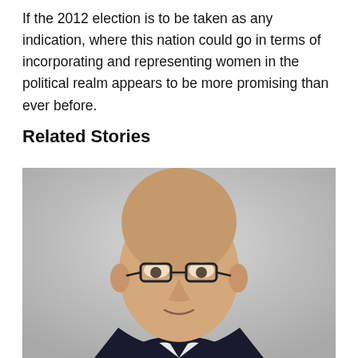If the 2012 election is to be taken as any indication, where this nation could go in terms of incorporating and representing women in the political realm appears to be more promising than ever before.
Related Stories
[Figure (photo): Portrait photo of an older bald man wearing dark-framed glasses and a dark suit jacket, with a light grey background. The man is smiling slightly.]